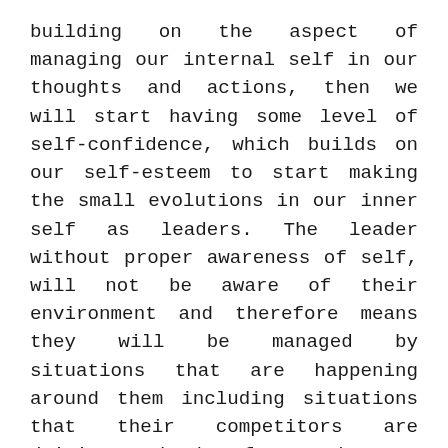building on the aspect of managing our internal self in our thoughts and actions, then we will start having some level of self-confidence, which builds on our self-esteem to start making the small evolutions in our inner self as leaders. The leader without proper awareness of self, will not be aware of their environment and therefore means they will be managed by situations that are happening around them including situations that their competitors are driving and therefore end s up copying unashamed just because of their lack of self-awareness which has had a ripple effect in the lack of their environment awareness and therefore managed by their competitors and environment. When the leaders deploy themselves in this state of lack of self-awareness and inability to manage themselves